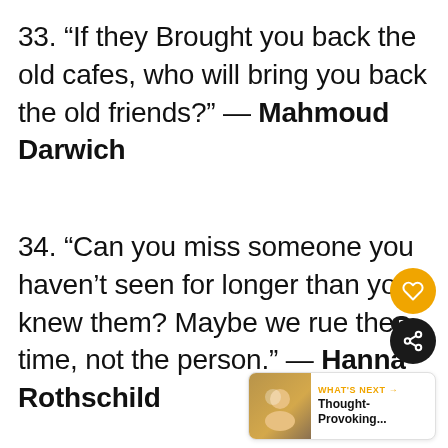33. “If they Brought you back the old cafes, who will bring you back the old friends?” — Mahmoud Darwich
34. “Can you miss someone you haven’t seen for longer than you knew them? Maybe we rue the time, not the person.” — Hannah Rothschild